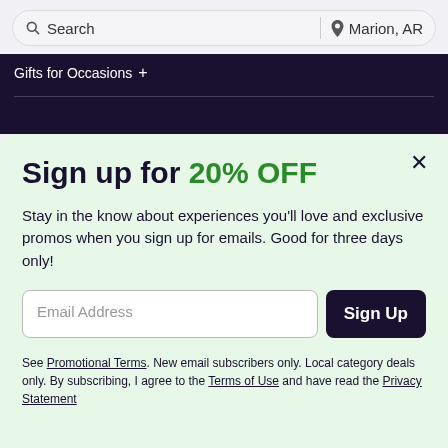Search | Marion, AR
Gifts for Occasions +
Sign up for 20% OFF
Stay in the know about experiences you'll love and exclusive promos when you sign up for emails. Good for three days only!
Email Address [input field] Sign Up [button]
See Promotional Terms. New email subscribers only. Local category deals only. By subscribing, I agree to the Terms of Use and have read the Privacy Statement